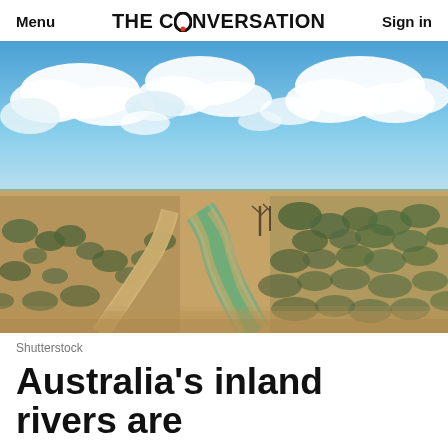Menu | THE CONVERSATION | Sign in
[Figure (photo): Aerial drone view of an Australian inland river winding through dry, arid scrubland with sparse trees and red-brown earth under a partly cloudy blue sky. A dirt track runs parallel to the river on the left.]
Shutterstock
Australia's inland rivers are